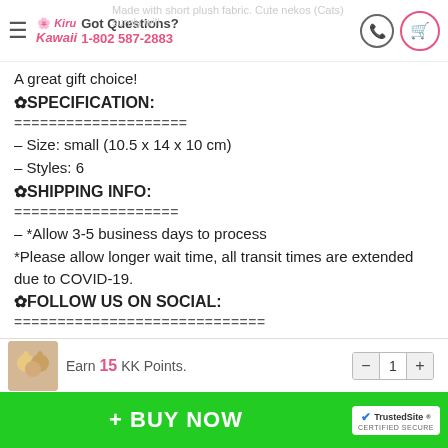Kiru Kawaii — Got Questions? 1-802 587-2883
Made with short plush fabric. Cute nekos (Cats) surely will...
A great gift choice!
✿SPECIFICATION:
====================
– Size: small (10.5 x 14 x 10 cm)
– Styles: 6
✿SHIPPING INFO:
===================
– *Allow 3-5 business days to process
*Please allow longer wait time, all transit times are extended due to COVID-19.
✿FOLLOW US ON SOCIAL:
=============================
https://linktr.ee/ruruvictoria
Earn 15 KK Points.
+ BUY NOW